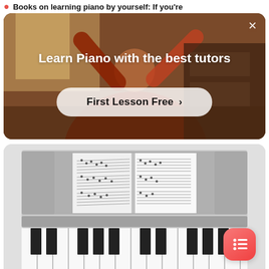Books on learning piano by yourself: If you're
[Figure (screenshot): Online piano tutoring advertisement banner with warm brown/orange toned background showing a person with arms raised. Contains text 'Learn Piano with the best tutors' and a 'First Lesson Free >' call-to-action button. Close (X) button in top right corner.]
[Figure (photo): Black and white photograph of a piano with sheet music book open on the music stand, showing piano keys in the foreground]